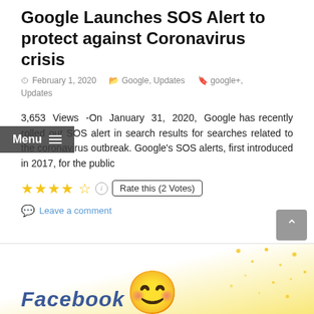Google Launches SOS Alert to protect against Coronavirus crisis
February 1, 2020   Google, Updates   google+, Updates
3,653 Views -On January 31, 2020, Google has recently rolled out SOS alert in search results for searches related to the coronavirus outbreak. Google's SOS alerts, first introduced in 2017, for the public
★★★★☆ ⓘ Rate this (2 Votes)
Leave a comment
[Figure (illustration): Bottom banner showing Facebook logo text in blue italic font and an emoji face with golden confetti/sparkles background]